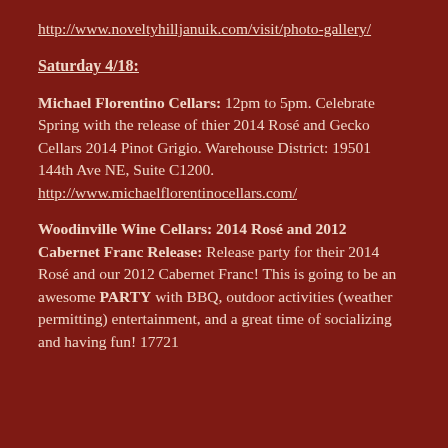http://www.noveltyhilljanuik.com/visit/photo-gallery/
Saturday 4/18:
Michael Florentino Cellars: 12pm to 5pm. Celebrate Spring with the release of thier 2014 Rosé and Gecko Cellars 2014 Pinot Grigio. Warehouse District: 19501 144th Ave NE, Suite C1200.
http://www.michaelflorentinocellars.com/
Woodinville Wine Cellars: 2014 Rosé and 2012 Cabernet Franc Release: Release party for their 2014 Rosé and our 2012 Cabernet Franc! This is going to be an awesome PARTY with BBQ, outdoor activities (weather permitting) entertainment, and a great time of socializing and having fun! 17721